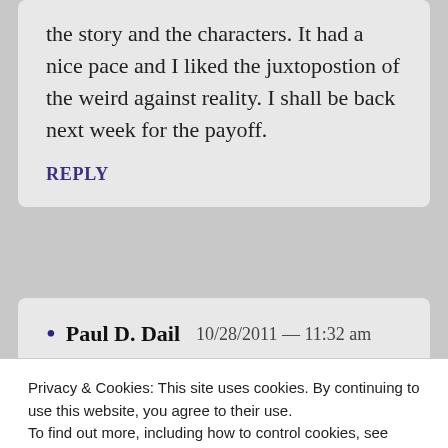the story and the characters. It had a nice pace and I liked the juxtopostion of the weird against reality. I shall be back next week for the payoff.
REPLY
Paul D. Dail  10/28/2011 — 11:32 am
Privacy & Cookies: This site uses cookies. By continuing to use this website, you agree to their use.
To find out more, including how to control cookies, see here: Cookie Policy
Close and accept
grabbed your attention enough to